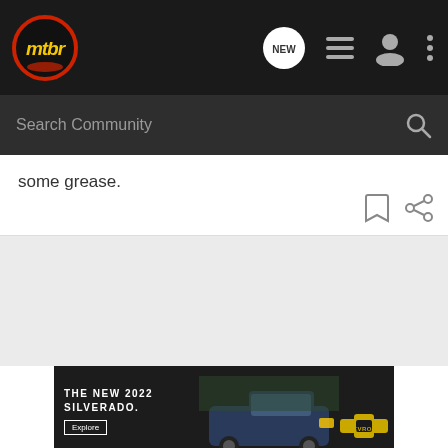[Figure (logo): mtbr logo - circular red border with yellow italic mtbr text on dark background]
some grease.
[Figure (screenshot): Action icons: bookmark and share icons in bottom right of content area]
[Figure (photo): Advertisement banner: THE NEW 2022 SILVERADO. with Explore button, photo of dark blue Chevrolet Silverado truck, Chevrolet logo]